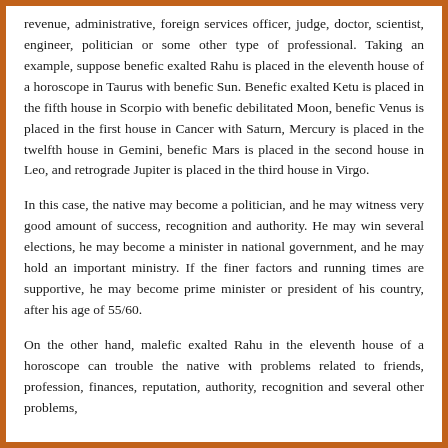revenue, administrative, foreign services officer, judge, doctor, scientist, engineer, politician or some other type of professional. Taking an example, suppose benefic exalted Rahu is placed in the eleventh house of a horoscope in Taurus with benefic Sun. Benefic exalted Ketu is placed in the fifth house in Scorpio with benefic debilitated Moon, benefic Venus is placed in the first house in Cancer with Saturn, Mercury is placed in the twelfth house in Gemini, benefic Mars is placed in the second house in Leo, and retrograde Jupiter is placed in the third house in Virgo.
In this case, the native may become a politician, and he may witness very good amount of success, recognition and authority. He may win several elections, he may become a minister in national government, and he may hold an important ministry. If the finer factors and running times are supportive, he may become prime minister or president of his country, after his age of 55/60.
On the other hand, malefic exalted Rahu in the eleventh house of a horoscope can trouble the native with problems related to friends, profession, finances, reputation, authority, recognition and several other problems, depending on his running times and other horoscopic factors.